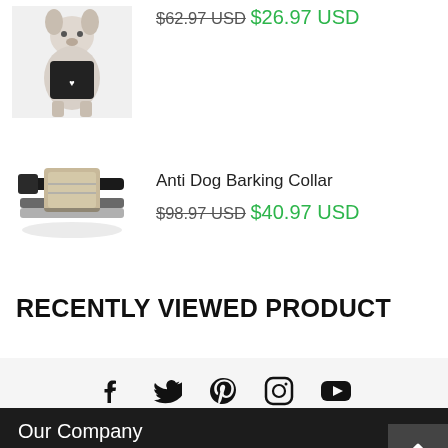[Figure (photo): Partial view of a dog wearing a tank top/vest, top of page]
$62.97 USD  $26.97 USD
[Figure (photo): Anti dog barking collar product image - black collar with beige/gold metal device]
Anti Dog Barking Collar
$98.97 USD  $40.97 USD
RECENTLY VIEWED PRODUCT
[Figure (other): Social media icons: Facebook, Twitter, Pinterest, Instagram, YouTube]
Our Company